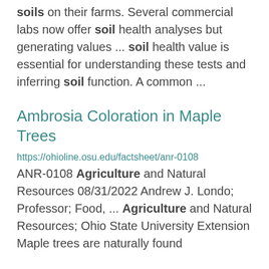soils on their farms. Several commercial labs now offer soil health analyses but generating values ... soil health value is essential for understanding these tests and inferring soil function. A common ...
Ambrosia Coloration in Maple Trees
https://ohioline.osu.edu/factsheet/anr-0108 ANR-0108 Agriculture and Natural Resources 08/31/2022 Andrew J. Londo; Professor; Food, ... Agriculture and Natural Resources; Ohio State University Extension Maple trees are naturally found